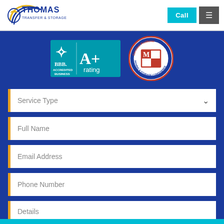[Figure (logo): Thomas Transfer & Storage logo with golden arc and navy text]
Call
≡
[Figure (logo): BBB Accredited Business A+ rating badge in teal]
[Figure (logo): Certified ProMover Moving & Storage Conference seal in red/blue/white circular design]
Service Type
Full Name
Email Address
Phone Number
Details